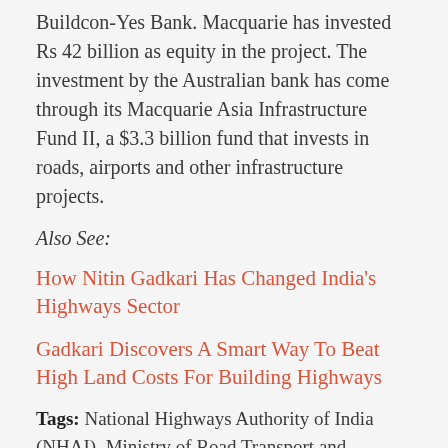Buildcon-Yes Bank. Macquarie has invested Rs 42 billion as equity in the project. The investment by the Australian bank has come through its Macquarie Asia Infrastructure Fund II, a $3.3 billion fund that invests in roads, airports and other infrastructure projects.
Also See:
How Nitin Gadkari Has Changed India’s Highways Sector
Gadkari Discovers A Smart Way To Beat High Land Costs For Building Highways
Tags: National Highways Authority of India (NHAI), Ministry of Road Transport and Highways (MoRTH),